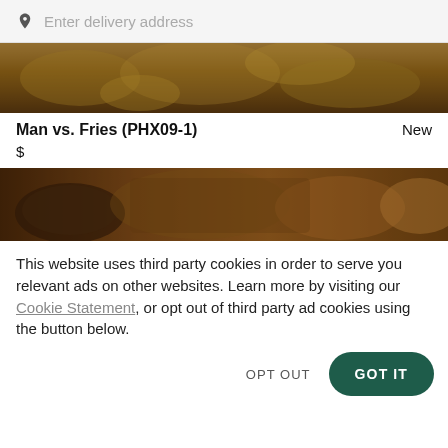Enter delivery address
[Figure (photo): Top portion of a food image showing various dishes from above, dark and warm tones]
Man vs. Fries (PHX09-1)   New
$
[Figure (photo): Food image showing Mexican-style dishes from above with bowls, sauces and tortillas, dark warm tones]
This website uses third party cookies in order to serve you relevant ads on other websites. Learn more by visiting our Cookie Statement, or opt out of third party ad cookies using the button below.
OPT OUT
GOT IT